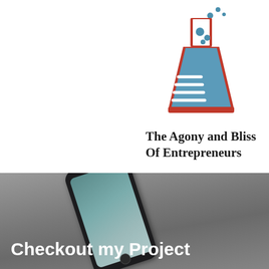[Figure (logo): Erlenmeyer flask logo with red outline, blue liquid fill with white horizontal stripes, and blue bubbles above]
The Agony and Bliss Of Entrepreneurs
[Figure (photo): A smartphone lying on a gray surface, viewed from above at an angle, with a dark screen showing a faint reflection]
Checkout my Project